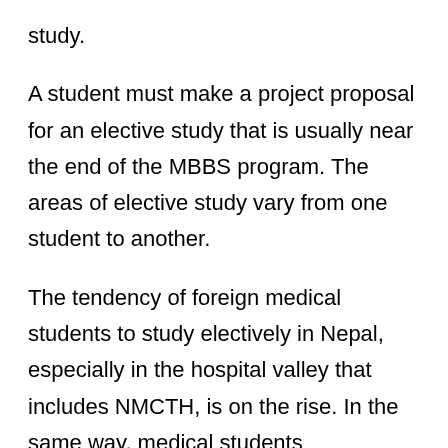study.
A student must make a project proposal for an elective study that is usually near the end of the MBBS program. The areas of elective study vary from one student to another.
The tendency of foreign medical students to study electively in Nepal, especially in the hospital valley that includes NMCTH, is on the rise. In the same way, medical students